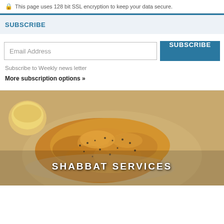This page uses 128 bit SSL encryption to keep your data secure.
SUBSCRIBE
Email Address
SUBSCRIBE
Subscribe to Weekly news letter
More subscription options »
[Figure (photo): Photo of braided challah bread with poppy seeds on a decorative plate, with a cup in the background. Text overlay reads SHABBAT SERVICES.]